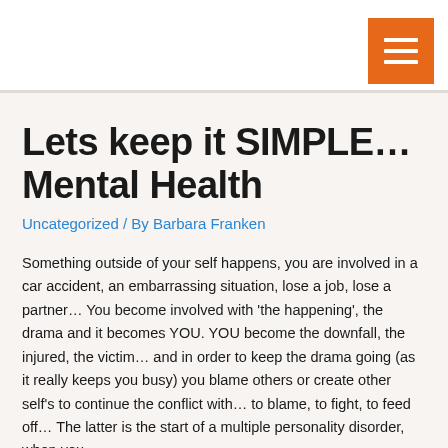Lets keep it SIMPLE... Mental Health
Uncategorized / By Barbara Franken
Something outside of your self happens, you are involved in a car accident, an embarrassing situation, lose a job, lose a partner... You become involved with 'the happening', the drama and it becomes YOU. YOU become the downfall, the injured, the victim... and in order to keep the drama going (as it really keeps you busy) you blame others or create other self's to continue the conflict with... to blame, to fight, to feed off... The latter is the start of a multiple personality disorder, when you...